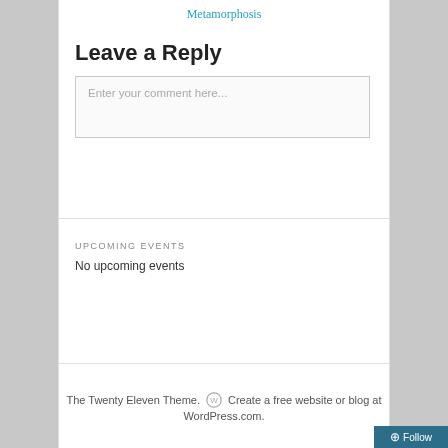Metamorphosis
Leave a Reply
Enter your comment here...
UPCOMING EVENTS
No upcoming events
The Twenty Eleven Theme.  Create a free website or blog at WordPress.com.